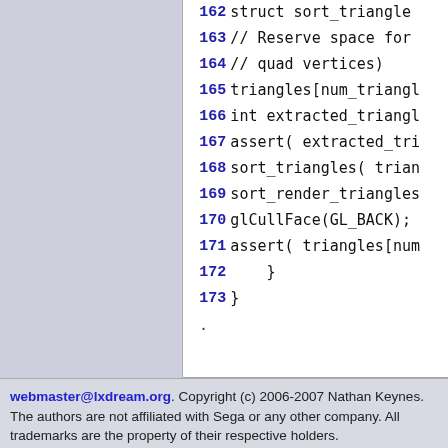[Figure (screenshot): Code viewer panel showing C/C++ source code lines 162-173 with line numbers in bold blue on the left and code text in monospace on the right, against a white background.]
webmaster@lxdream.org. Copyright (c) 2006-2007 Nathan Keynes. The authors are not affiliated with Sega or any other company. All trademarks are the property of their respective holders.